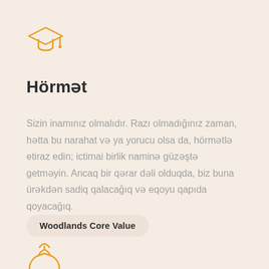[Figure (illustration): Orange graduation cap / student icon outline]
Hörmət
Sizin inamınız olmalıdır. Razı olmadığınız zaman, hətta bu narahat və ya yorucu olsa da, hörmətlə etiraz edin; ictimai birlik naminə güzəştə getməyin. Ancaq bir qərar dəli olduqda, biz buna ürəkdən sadiq qalacağıq və eqoyu qapıda qoyacağıq.
Woodlands Core Value
[Figure (illustration): Orange handshake icon outline at bottom]